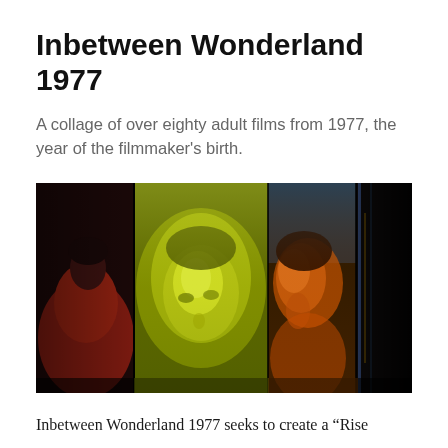Inbetween Wonderland 1977
A collage of over eighty adult films from 1977, the year of the filmmaker’s birth.
[Figure (photo): A collage-style film still showing multiple overlapping frames: a figure in reddish tones on the left, a man's face in yellow-green tones in the center-left, a woman's profile in orange-yellow tones in the center-right, and dark abstract shapes on the right.]
Inbetween Wonderland 1977 seeks to create a “Rise